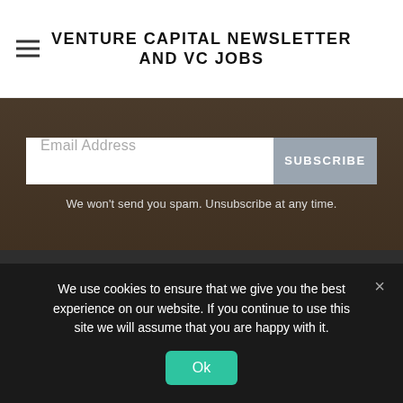VENTURE CAPITAL NEWSLETTER AND VC JOBS
Email Address
SUBSCRIBE
We won't send you spam. Unsubscribe at any time.
VENTURE CAPITAL NEWSLETTER AND VC JOBS
2021 Venture Capital Salary Survey
Venture Capital Jobs and Internships
We use cookies to ensure that we give you the best experience on our website. If you continue to use this site we will assume that you are happy with it.
Ok